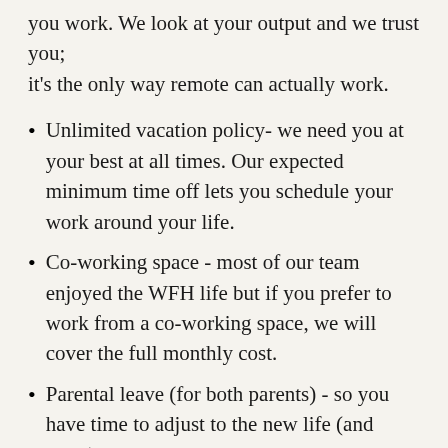you work. We look at your output and we trust you; it's the only way remote can actually work.
Unlimited vacation policy- we need you at your best at all times. Our expected minimum time off lets you schedule your work around your life.
Co-working space - most of our team enjoyed the WFH life but if you prefer to work from a co-working space, we will cover the full monthly cost.
Parental leave (for both parents) - so you have time to adjust to the new life (and work) schedule introduced by your new bundle of joy.
Travel With Purpose - we are a fully distributed, 100% remote-friendly team, however, we recognize the value of in-person time. We will pay for round-trip flights, hotel, transportation, and food on